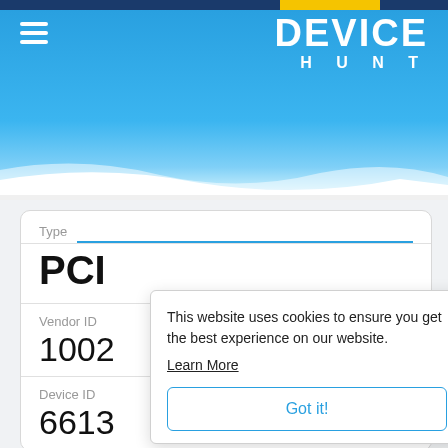[Figure (screenshot): Device Hunt website header with sky blue gradient background, hamburger menu icon on left, and DEVICE HUNT logo on right in white bold text]
| Field | Value |
| --- | --- |
| Type | PCI |
| Vendor ID | 1002 |
| Device ID | 6613 |
This website uses cookies to ensure you get the best experience on our website. Learn More Got it!